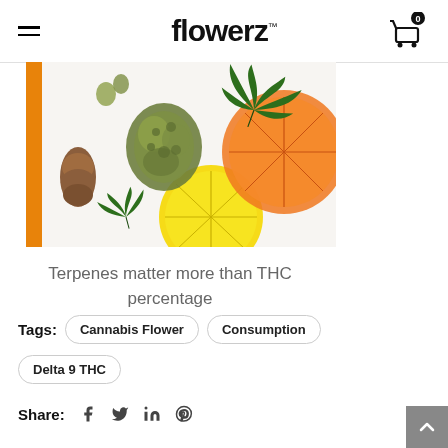flowerz
[Figure (photo): Photo showing cannabis buds, pine cones, citrus slices (lemon and orange), and cannabis leaves arranged on a white background with an orange vertical stripe on the left edge.]
Terpenes matter more than THC percentage
Tags: Cannabis Flower  Consumption  Delta 9 THC
Share: